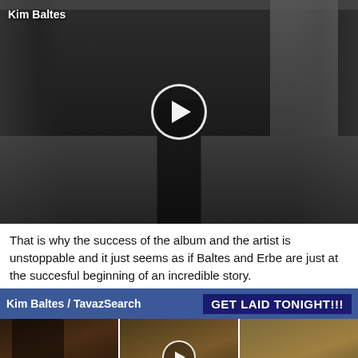[Figure (photo): Black and white video thumbnail showing a figure in a room with curtains and windows, with a play button overlay. Label 'Kim Baltes' in top left.]
That is why the success of the album and the artist is unstoppable and it just seems as if Baltes and Erbe are just at the succesful beginning of an incredible story.
[Figure (photo): Ad bar with blue background showing 'Kim Baltes / TavazSearch' on left and 'GET LAID TONIGHT!!!' on right, followed by three small photo thumbnails of women.]